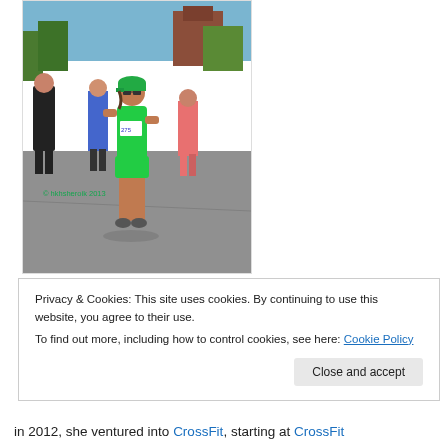[Figure (photo): Outdoor photo of runners in a road race. The central runner is a woman wearing a bright green tank top, green shorts, a green cap, and sunglasses, with race bib number 775. Other runners are visible behind her. Buildings and trees are visible in the background. A copyright watermark reads '© hkhsheroik 2013' in green text.]
Privacy & Cookies: This site uses cookies. By continuing to use this website, you agree to their use.
To find out more, including how to control cookies, see here: Cookie Policy
Close and accept
in 2012, she ventured into CrossFit, starting at CrossFit